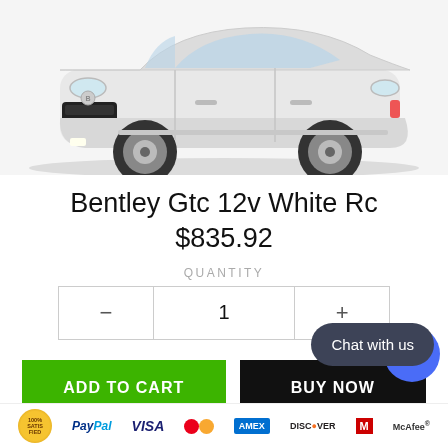[Figure (photo): White Bentley GTC luxury car model/toy photographed from front-left angle on white background]
Bentley Gtc 12v White Rc
$835.92
QUANTITY
- 1 +
ADD TO CART
BUY NOW
Chat with us
GUARANTEED SAFE CHECKOUT
PayPal VISA [Mastercard] [Amex] DISCOVER McAfee